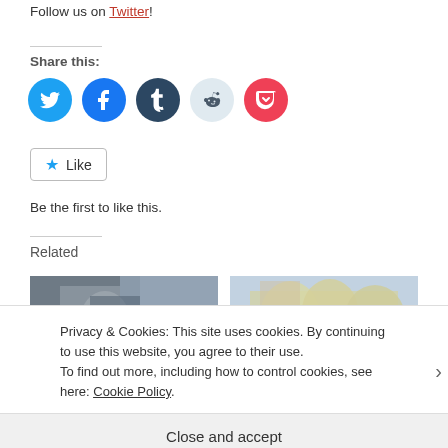Follow us on Twitter!
Share this:
[Figure (infographic): Social sharing buttons: Twitter (blue circle), Facebook (blue circle), Tumblr (dark circle), Reddit (light blue circle), Pocket (red circle)]
[Figure (infographic): Like button with star icon and 'Like' text]
Be the first to like this.
Related
[Figure (photo): Photo of ice hockey players, dark/grey tones]
[Figure (photo): Photo of ice hockey players in yellow jerseys celebrating]
Privacy & Cookies: This site uses cookies. By continuing to use this website, you agree to their use.
To find out more, including how to control cookies, see here: Cookie Policy
Close and accept